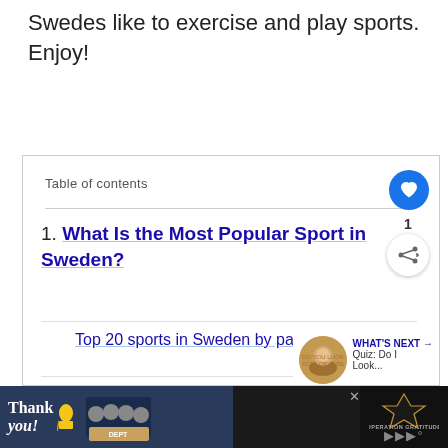Swedes like to exercise and play sports.
Enjoy!
Table of contents
1. What Is the Most Popular Sport in Sweden?
Top 20 sports in Sweden by participation
Top 10 sports in Sweden by number of spectators
So how many people attend an [image] sports game in Sweden?
[Figure (screenshot): Advertisement bar at bottom with 'Thank you!' handwriting text, people in uniform photo, and Operation Gratitude logo on dark background]